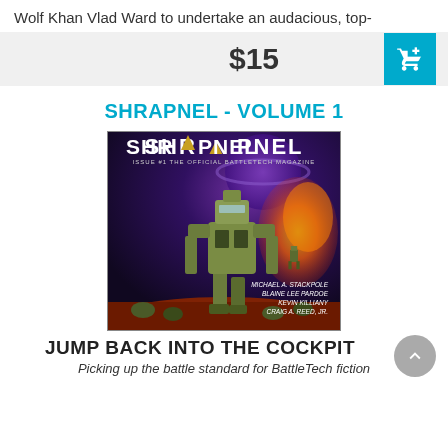Wolf Khan Vlad Ward to undertake an audacious, top-
$15
SHRAPNEL - VOLUME 1
[Figure (illustration): Magazine cover of SHRAPNEL Issue #1, The Official BattleTech Magazine. Shows a large combat mech robot in a battle scene with soldiers. Authors listed: Michael A. Stackpole, Blaine Lee Pardoe, Kevin Killiany, Craig A. Reed, Jr.]
JUMP BACK INTO THE COCKPIT
Picking up the battle standard for BattleTech fiction